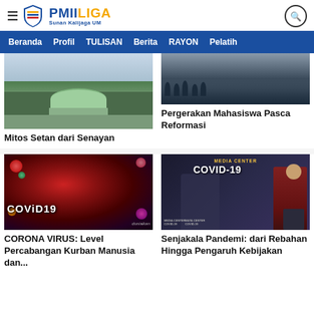PMII LIGA Sunan Kalijaga UM
Beranda · Profil · TULISAN · Berita · RAYON · Pelatih
[Figure (photo): Aerial photo of Senayan stadium with green dome roof]
Mitos Setan dari Senayan
[Figure (photo): Crowd of student protesters]
Pergerakan Mahasiswa Pasca Reformasi
[Figure (photo): COVID-19 virus illustration with colorful particles and COVID19 text overlay]
CORONA VIRUS: Level Percabangan Kurban Manusia dan...
[Figure (photo): Media Center COVID-19 press conference with speaker at podium]
Senjakala Pandemi: dari Rebahan Hingga Pengaruh Kebijakan